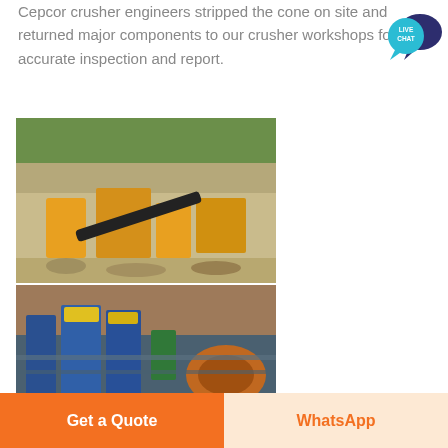Cepcor crusher engineers stripped the cone on site and returned major components to our crusher workshops for accurate inspection and report.
[Figure (photo): Outdoor quarry/mining site with yellow heavy crushing machinery and conveyor belts, rock face and green hills in background]
[Figure (photo): Industrial crusher equipment setup with blue and yellow machinery, including cone crushers and industrial components at a mining site]